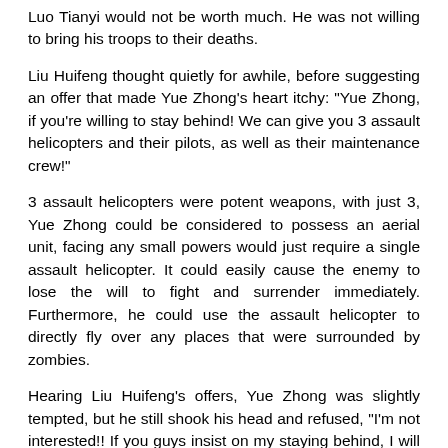Luo Tianyi would not be worth much. He was not willing to bring his troops to their deaths.
Liu Huifeng thought quietly for awhile, before suggesting an offer that made Yue Zhong's heart itchy: "Yue Zhong, if you're willing to stay behind! We can give you 3 assault helicopters and their pilots, as well as their maintenance crew!"
3 assault helicopters were potent weapons, with just 3, Yue Zhong could be considered to possess an aerial unit, facing any small powers would just require a single assault helicopter. It could easily cause the enemy to lose the will to fight and surrender immediately. Furthermore, he could use the assault helicopter to directly fly over any places that were surrounded by zombies.
Hearing Liu Huifeng's offers, Yue Zhong was slightly tempted, but he still shook his head and refused, "I'm not interested!! If you guys insist on my staying behind, I will immediately pull my troops back!!"